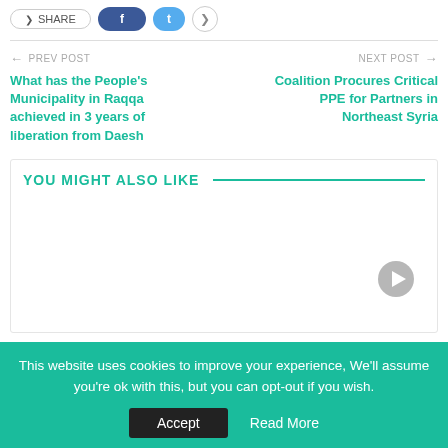[Figure (screenshot): Social share buttons: Share (outline), Facebook (blue), Twitter (light blue), and more (circle) buttons]
PREV POST   What has the People's Municipality in Raqqa achieved in 3 years of liberation from Daesh
NEXT POST   Coalition Procures Critical PPE for Partners in Northeast Syria
YOU MIGHT ALSO LIKE
[Figure (other): Play icon circle button (grey) in the 'You Might Also Like' section thumbnail area]
This website uses cookies to improve your experience, We'll assume you're ok with this, but you can opt-out if you wish.